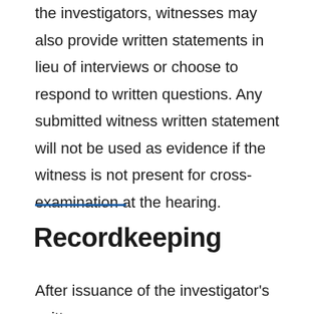the investigators, witnesses may also provide written statements in lieu of interviews or choose to respond to written questions. Any submitted witness written statement will not be used as evidence if the witness is not present for cross-examination at the hearing.
Recordkeeping
After issuance of the investigator's written